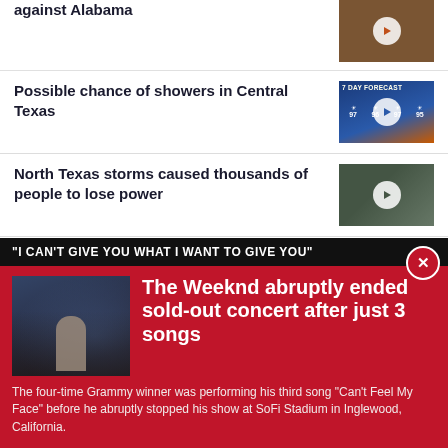against Alabama
Possible chance of showers in Central Texas
North Texas storms caused thousands of people to lose power
Lake Travis water levels still low despite recent
"I CAN'T GIVE YOU WHAT I WANT TO GIVE YOU"
The Weeknd abruptly ended sold-out concert after just 3 songs
The four-time Grammy winner was performing his third song "Can't Feel My Face" before he abruptly stopped his show at SoFi Stadium in Inglewood, California.